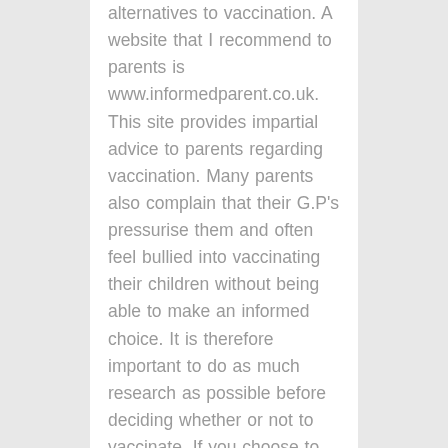alternatives to vaccination. A website that I recommend to parents is www.informedparent.co.uk. This site provides impartial advice to parents regarding vaccination. Many parents also complain that their G.P's pressurise them and often feel bullied into vaccinating their children without being able to make an informed choice. It is therefore important to do as much research as possible before deciding whether or not to vaccinate. If you choose to go ahead